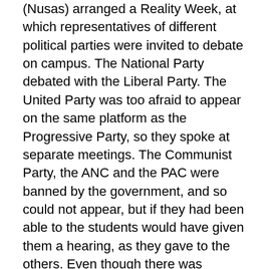(Nusas) arranged a Reality Week, at which representatives of different political parties were invited to debate on campus. The National Party debated with the Liberal Party. The United Party was too afraid to appear on the same platform as the Progressive Party, so they spoke at separate meetings. The Communist Party, the ANC and the PAC were banned by the government, and so could not appear, but if they had been able to the students would have given them a hearing, as they gave to the others. Even though there was vigorous disagreement, the differing views were heard. At the root of that lay the liberal concept of academic freedom.
Of course there are limits to academic freedom, limits which quacks and loonies sometimes try to push by promoting bogus academic disciplines (one that did a lot of damage in South Africa, whose effects are still felt